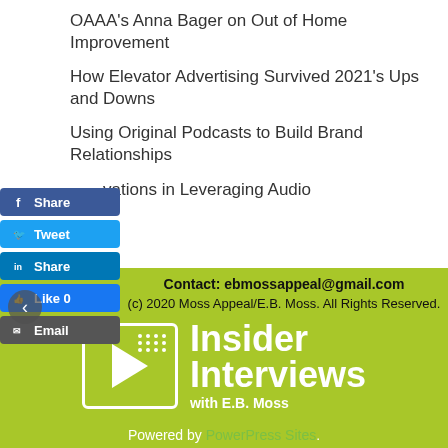OAAA's Anna Bager on Out of Home Improvement
How Elevator Advertising Survived 2021's Ups and Downs
Using Original Podcasts to Build Brand Relationships
Innovations in Leveraging Audio
Contact: ebmossappeal@gmail.com
(c) 2020 Moss Appeal/E.B. Moss. All Rights Reserved.
[Figure (logo): Insider Interviews with E.B. Moss podcast logo on lime green background with play button icon and dot grid]
Powered by PowerPress Sites.